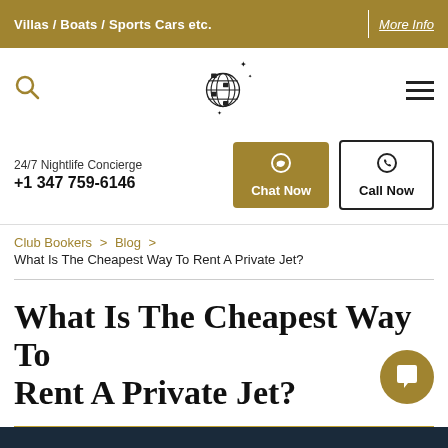Villas / Boats / Sports Cars etc. | More Info
[Figure (logo): Globe/disco ball logo with sparkles]
24/7 Nightlife Concierge
+1 347 759-6146
Chat Now
Call Now
Club Bookers > Blog > What Is The Cheapest Way To Rent A Private Jet?
What Is The Cheapest Way To Rent A Private Jet?
[Figure (photo): Dark background banner image with text WHAT IS THE CHEAPEST WAY]